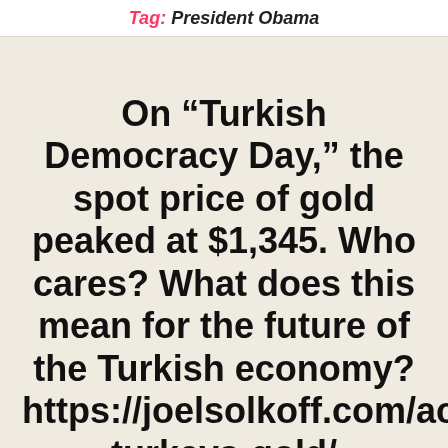Tag: President Obama
On “Turkish Democracy Day,” the spot price of gold peaked at $1,345. Who cares? What does this mean for the future of the Turkish economy? https://joelsolkoff.com/access-turkeys-gold/
Posted on July 16, 2016